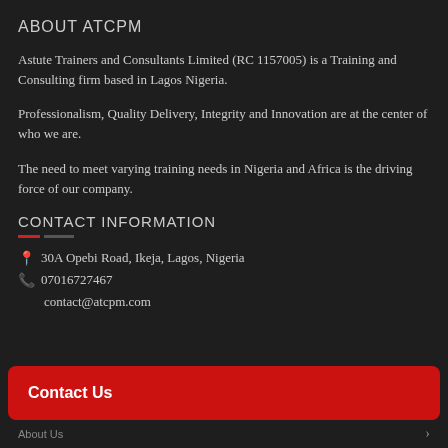ABOUT ATCPM
Astute Trainers and Consultants Limited (RC 1157005) is a Training and Consulting firm based in Lagos Nigeria.
Professionalism, Quality Delivery, Integrity and Innovation are at the center of who we are.
The need to meet varying training needs in Nigeria and Africa is the driving force of our company.
CONTACT INFORMATION
30A Opebi Road, Ikeja, Lagos, Nigeria
07016727467
contact@atcpm.com
Contact Us
About Us